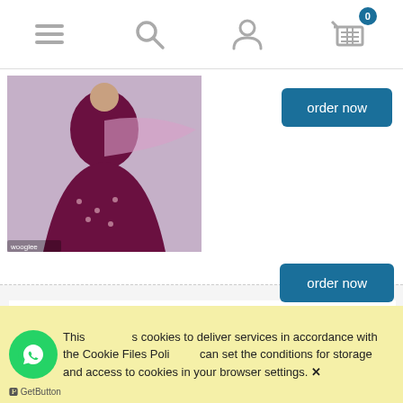Navigation bar with menu, search, user, and cart (0 items) icons
[Figure (photo): Product photo of a dark maroon/purple embroidered Indian lehenga/suit with pink dupatta, displayed on a model]
order now
Wooglee Destiny Vol-3 Viscose Readymade Suit ( 6 Pcs Catalog )
[Figure (photo): Product photo of a woman wearing a dark teal/black viscose readymade suit with embroidery and matching dupatta]
₹ 5,970.00
( 1 pcs = ₹ 995.00 )
excl. 5% TAX, excl. shipping costs
order now
This site uses cookies to deliver services in accordance with the Cookie Files Policy. You can set the conditions for storage and access to cookies in your browser settings. ✕